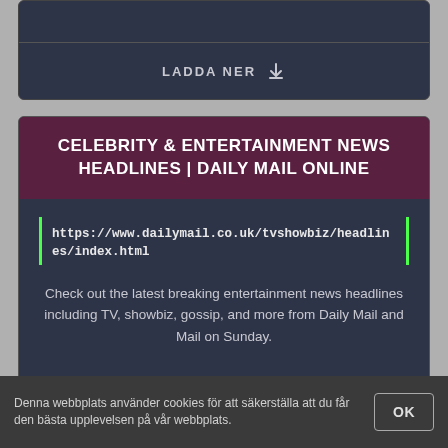LADDA NER
CELEBRITY & ENTERTAINMENT NEWS HEADLINES | DAILY MAIL ONLINE
https://www.dailymail.co.uk/tvshowbiz/headlines/index.html
Check out the latest breaking entertainment news headlines including TV, showbiz, gossip, and more from Daily Mail and Mail on Sunday.
STATUS: AKTIVA
FÖRHANDSVISNING
LADDA NER
Denna webbplats använder cookies för att säkerställa att du får den bästa upplevelsen på vår webbplats.